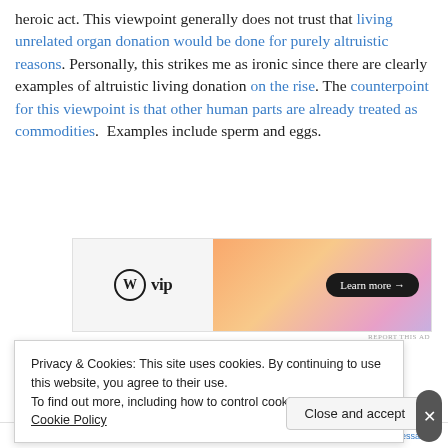heroic act.  This viewpoint generally does not trust that living unrelated organ donation would be done for purely altruistic reasons. Personally, this strikes me as ironic since there are clearly examples of altruistic living donation on the rise.  The counterpoint for this viewpoint is that other human parts are already treated as commodities.  Examples include sperm and eggs.
[Figure (other): WordPress VIP advertisement banner with logo on left and orange-pink gradient on right with 'Learn more' button]
Mark Cherry, a bio-ethicist at St. Edwards University in
Privacy & Cookies: This site uses cookies. By continuing to use this website, you agree to their use.
To find out more, including how to control cookies, see here: Cookie Policy
WordPress reads works best | Pressable